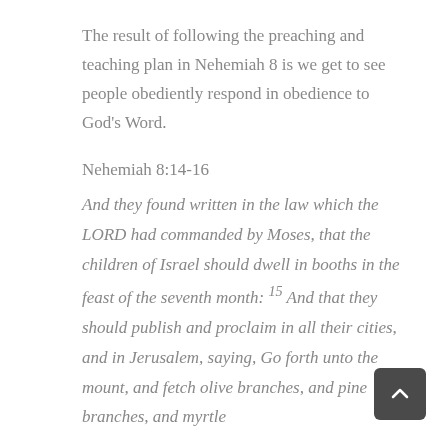The result of following the preaching and teaching plan in Nehemiah 8 is we get to see people obediently respond in obedience to God's Word.
Nehemiah 8:14-16
And they found written in the law which the LORD had commanded by Moses, that the children of Israel should dwell in booths in the feast of the seventh month: 15 And that they should publish and proclaim in all their cities, and in Jerusalem, saying, Go forth unto the mount, and fetch olive branches, and pine branches, and myrtle